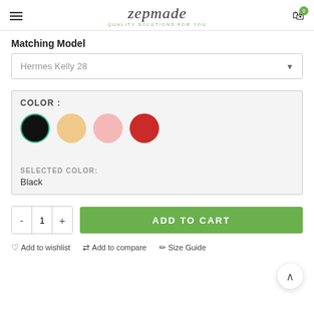zepmade — QUALITY SOLUTIONS FOR YOU
Matching Model
Hermes Kelly 28
COLOR :
SELECTED COLOR: Black
- 1 + ADD TO CART
Add to wishlist  Add to compare  Size Guide